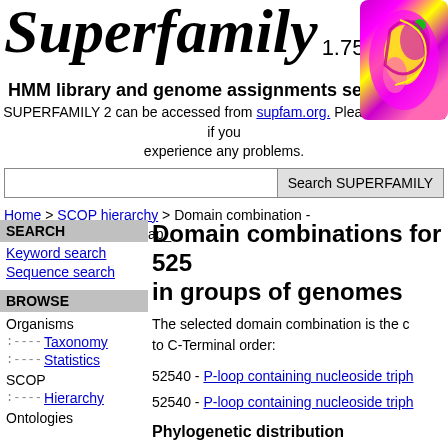Superfamily 1.75
HMM library and genome assignments server
SUPERFAMILY 2 can be accessed from supfam.org. Please contact us if you experience any problems.
Search SUPERFAMILY [search bar]
Home > SCOP hierarchy > Domain combination - 52540,_gap_,52540,_gap_
SEARCH
Keyword search
Sequence search
BROWSE
Organisms
Taxonomy
Statistics
SCOP
Hierarchy
Ontologies
Domain combinations for 525... in groups of genomes
The selected domain combination is the c to C-Terminal order:
52540 - P-loop containing nucleoside triph
52540 - P-loop containing nucleoside triph
Phylogenetic distribution
Other domain architectures with a similar g
See the phylogenetic distribution for this